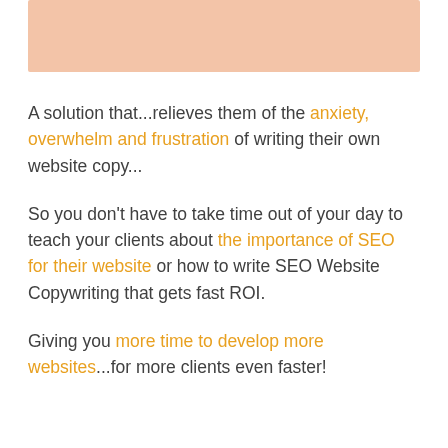[Figure (other): Salmon/peach colored horizontal bar at top of page]
A solution that...relieves them of the anxiety, overwhelm and frustration of writing their own website copy...
So you don't have to take time out of your day to teach your clients about the importance of SEO for their website or how to write SEO Website Copywriting that gets fast ROI.
Giving you more time to develop more websites...for more clients even faster!